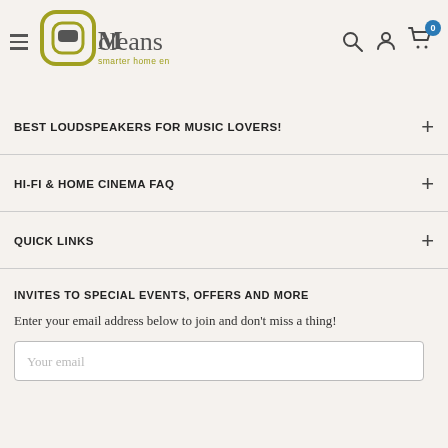[Figure (logo): Mcleans smarter home entertainment logo with stylized icon]
BEST LOUDSPEAKERS FOR MUSIC LOVERS!
HI-FI & HOME CINEMA FAQ
QUICK LINKS
INVITES TO SPECIAL EVENTS, OFFERS AND MORE
Enter your email address below to join and don't miss a thing!